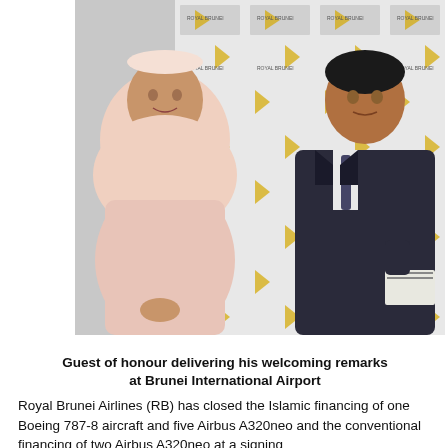[Figure (photo): Two people standing in front of a Royal Brunei Airlines branded backdrop. On the left is a woman wearing a pink hijab and matching outfit. On the right is a man in a dark suit delivering remarks at Brunei International Airport.]
Guest of honour delivering his welcoming remarks at Brunei International Airport
Royal Brunei Airlines (RB) has closed the Islamic financing of one Boeing 787-8 aircraft and five Airbus A320neo and the conventional financing of two Airbus A320neo at a signing ceremony...